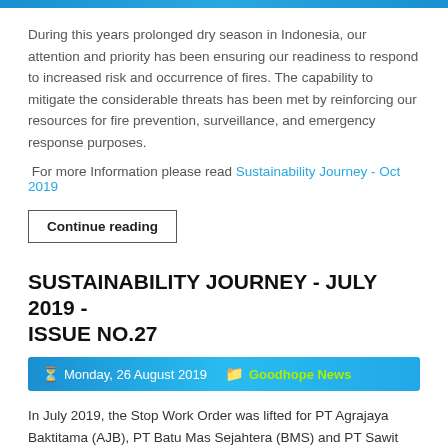During this years prolonged dry season in Indonesia, our attention and priority has been ensuring our readiness to respond to increased risk and occurrence of fires. The capability to mitigate the considerable threats has been met by reinforcing our resources for fire prevention, surveillance, and emergency response purposes.
For more Information please read Sustainability Journey - Oct 2019
Continue reading
SUSTAINABILITY JOURNEY - JULY 2019 - ISSUE NO.27
Monday, 26 August 2019   Goodhope News
In July 2019, the Stop Work Order was lifted for PT Agrajaya Baktitama (AJB), PT Batu Mas Sejahtera (BMS) and PT Sawit Makmur Sejahtera (SMS), marking the end of all RSPO Stop Work Orders on subsidiaries of Goodhope.